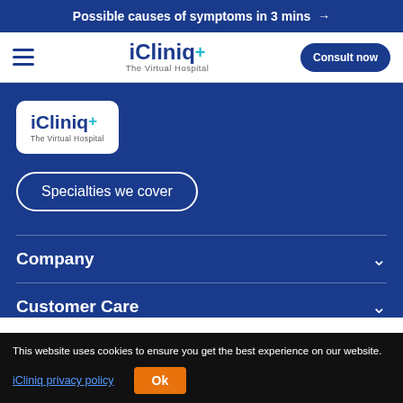Possible causes of symptoms in 3 mins →
[Figure (logo): iCliniq+ The Virtual Hospital logo in navigation bar]
[Figure (logo): iCliniq+ The Virtual Hospital logo in white box on blue background]
Specialties we cover
Company
Customer Care
This website uses cookies to ensure you get the best experience on our website.
iCliniq privacy policy
Ok